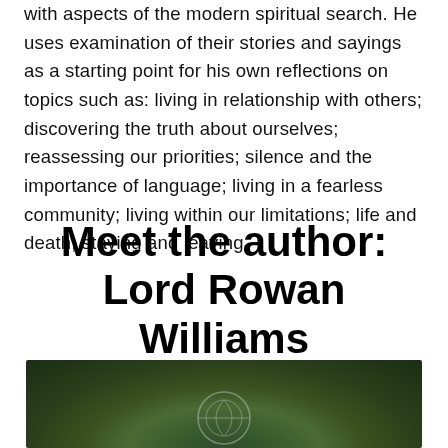with aspects of the modern spiritual search. He uses examination of their stories and sayings as a starting point for his own reflections on topics such as: living in relationship with others; discovering the truth about ourselves; reassessing our priorities; silence and the importance of language; living in a fearless community; living within our limitations; life and death; staying and leaving.
Meet the author: Lord Rowan Williams
[Figure (photo): Blurred green foliage background photograph with a faint circular emblem or logo partially visible at the bottom center]